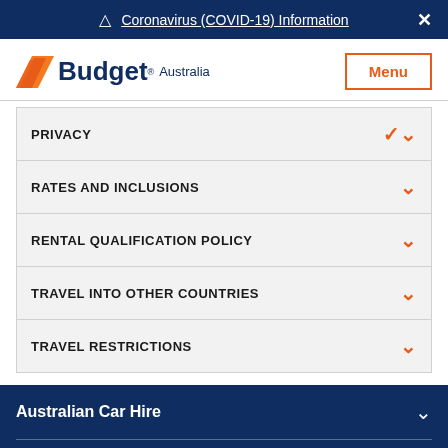⚠ Coronavirus (COVID-19) Information ✕
[Figure (logo): Budget Australia logo with orange chevron/flag icon]
PRIVACY
RATES AND INCLUSIONS
RENTAL QUALIFICATION POLICY
TRAVEL INTO OTHER COUNTRIES
TRAVEL RESTRICTIONS
Australian Car Hire
Airport Car Rental